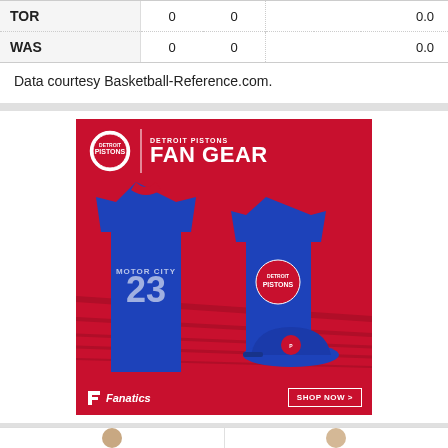| Team |  |  |  |  |  |
| --- | --- | --- | --- | --- | --- |
| TOR | 0 | 0 |  |  | 0.0 |
| WAS | 0 | 0 |  |  | 0.0 |
Data courtesy Basketball-Reference.com.
[Figure (illustration): Detroit Pistons Fan Gear advertisement showing a blue #23 Motor City jersey, a blue Detroit Pistons t-shirt, and a blue fitted cap on a red background. Fanatics logo at bottom left, SHOP NOW button at bottom right. Text reads DETROIT PISTONS FAN GEAR.]
[Figure (photo): Two partial player photos at bottom of page, cropped to show heads and upper torso of two basketball players.]